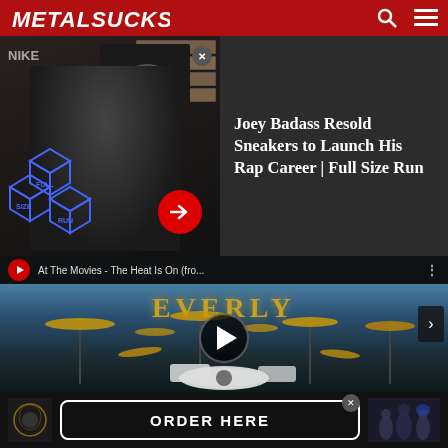MetalSucks
[Figure (screenshot): Ad overlay showing Joey Badass sneaker article from Full Size Run with person image, sneaker image, and arrow button]
Joey Badass Resold Sneakers to Launch His Rap Career | Full Size Run
[Figure (screenshot): YouTube video embed showing drum kit performance - At The Movies - The Heat Is On (fro... with play button overlay and Beverly Hills sign in background]
[Figure (screenshot): Bottom advertisement banner with album artwork thumbnail, ORDER HERE button, and band photo]